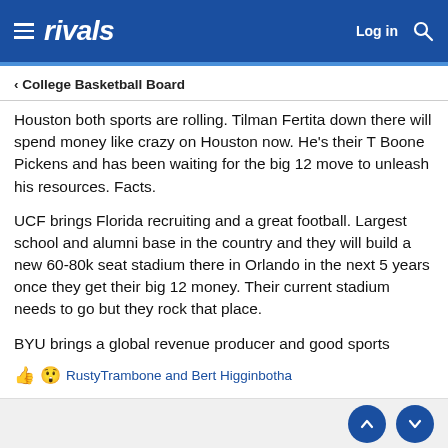rivals | Log in
< College Basketball Board
Houston both sports are rolling. Tilman Fertita down there will spend money like crazy on Houston now. He's their T Boone Pickens and has been waiting for the big 12 move to unleash his resources. Facts.
UCF brings Florida recruiting and a great football. Largest school and alumni base in the country and they will build a new 60-80k seat stadium there in Orlando in the next 5 years once they get their big 12 money. Their current stadium needs to go but they rock that place.
BYU brings a global revenue producer and good sports
RustyTrambone and Bert Higginbotha